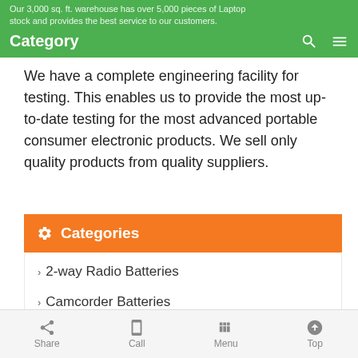Category — Our 3,000 sq. ft. warehouse has over 5,000 pieces of Laptop stock and provides the best service to our customers.
We have a complete engineering facility for testing. This enables us to provide the most up-to-date testing for the most advanced portable consumer electronic products. We sell only quality products from quality suppliers.
Categories
2-way Radio Batteries
Camcorder Batteries
Charger + AC Adapter
Charger + Battery
Digital Camera Batteries
Share  Call  Menu  Top